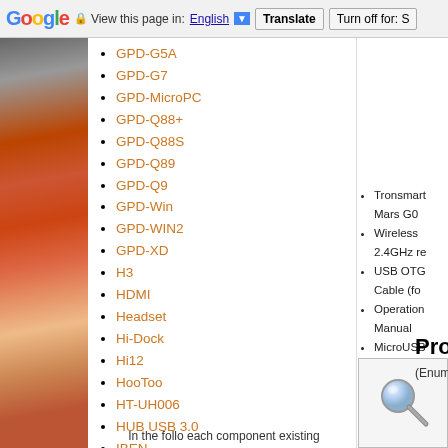Google  View this page in: English [▼]  Translate  Turn off for: S
GPD-G5A
GPD-G7
GPD-MicroPC
GPD-Q88+
GPD-Q88S
GPD-Q89
GPD-Q9
GPD-Win
GPD-WIN2
GPD-XD
H3
HDMI
Headset
Hi-Dock
Hi12
HooToo
HT-UH006
HUB USB 3.0
IBEN
IBEN-L1
Tronsmart Mars G0
Wireless 2.4GHz re
USB OTG Cable (fo
Operation Manual
MicroUSB cable (fo
[Figure (illustration): Magnifying glass icon for product search]
Produ
(Enumera
In the follo each component existing